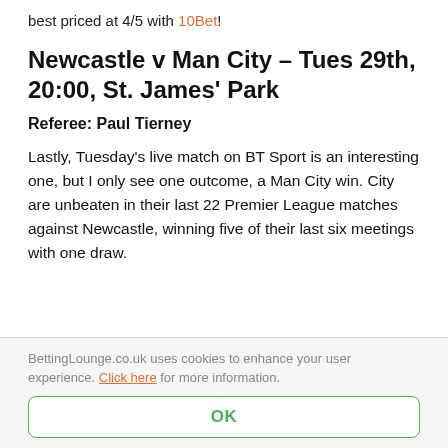best priced at 4/5 with 10Bet!
Newcastle v Man City – Tues 29th, 20:00, St. James' Park
Referee: Paul Tierney
Lastly, Tuesday's live match on BT Sport is an interesting one, but I only see one outcome, a Man City win. City are unbeaten in their last 22 Premier League matches against Newcastle, winning five of their last six meetings with one draw.
BettingLounge.co.uk uses cookies to enhance your user experience. Click here for more information.
OK